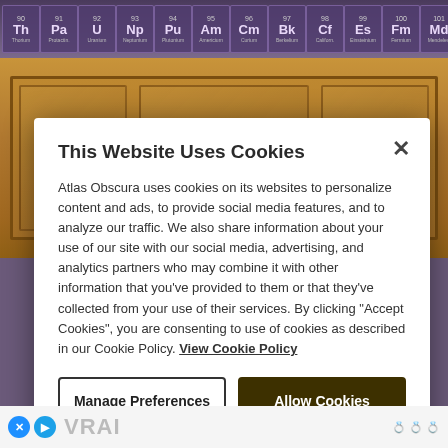[Figure (photo): Top strip showing illuminated periodic table element cards with purple/violet backlighting, followed by a wooden panel wall below.]
This Website Uses Cookies
Atlas Obscura uses cookies on its websites to personalize content and ads, to provide social media features, and to analyze our traffic. We also share information about your use of our site with our social media, advertising, and analytics partners who may combine it with other information that you've provided to them or that they've collected from your use of their services. By clicking "Accept Cookies", you are consenting to use of cookies as described in our Cookie Policy. View Cookie Policy
[Figure (screenshot): Two buttons: 'Manage Preferences' (outlined) and 'Allow Cookies' (dark background)]
[Figure (photo): Partial advertisement banner showing VRAI logo and jewelry rings on white background]